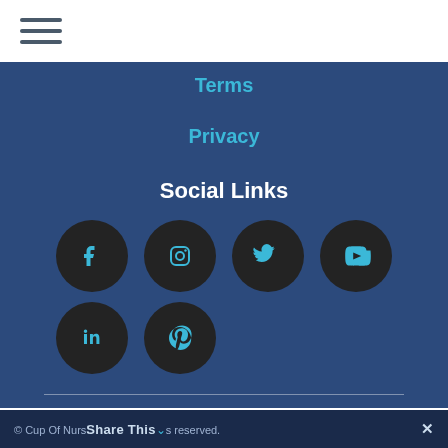≡ (hamburger menu)
Terms
Privacy
Social Links
[Figure (infographic): Six social media icon circles in two rows: Facebook, Instagram, Twitter, YouTube (row 1); LinkedIn, Pinterest (row 2). Dark circular backgrounds with cyan icons on dark blue background.]
© Cup Of Nurs... all rights reserved. | Share This